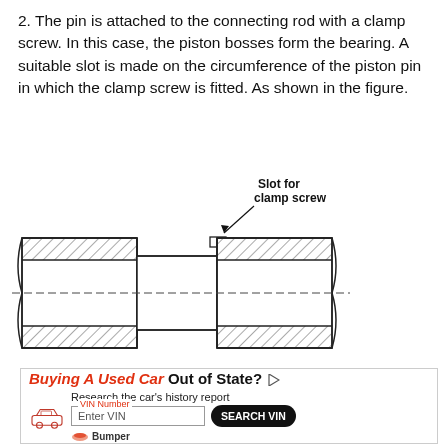2. The pin is attached to the connecting rod with a clamp screw. In this case, the piston bosses form the bearing. A suitable slot is made on the circumference of the piston pin in which the clamp screw is fitted. As shown in the figure.
[Figure (engineering-diagram): Cross-section diagram of a piston pin showing the cylindrical hollow pin with hatched end sections and a central slot. A leader line points to a slot on the upper surface labeled 'Slot for clamp screw'. A dashed centerline runs horizontally through the middle of the pin.]
[Figure (other): Advertisement for Bumper vehicle history report service. Text reads 'Buying A Used Car Out of State?' with a car icon, 'Research the car history report', VIN Number input field with placeholder 'Enter VIN', and a 'SEARCH VIN' button.]